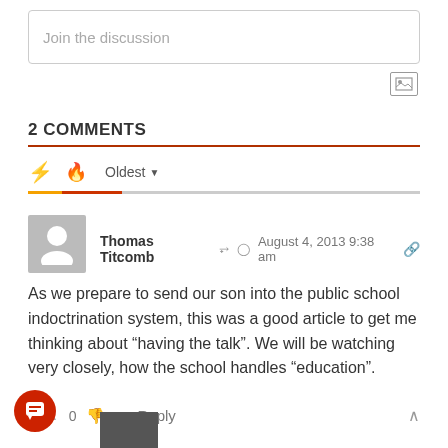Join the discussion
2 COMMENTS
Oldest
Thomas Titcomb   August 4, 2013 9:38 am
As we prepare to send our son into the public school indoctrination system, this was a good article to get me thinking about “having the talk”. We will be watching very closely, how the school handles “education”.
2  0   Reply